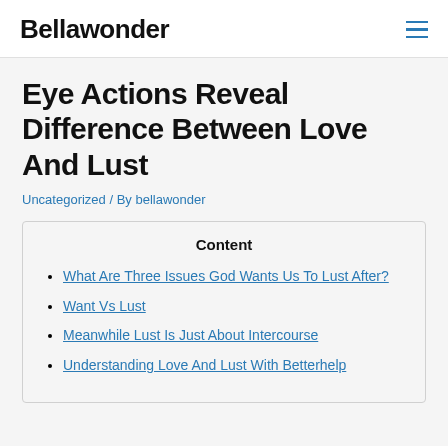Bellawonder
Eye Actions Reveal Difference Between Love And Lust
Uncategorized / By bellawonder
Content
What Are Three Issues God Wants Us To Lust After?
Want Vs Lust
Meanwhile Lust Is Just About Intercourse
Understanding Love And Lust With Betterhelp